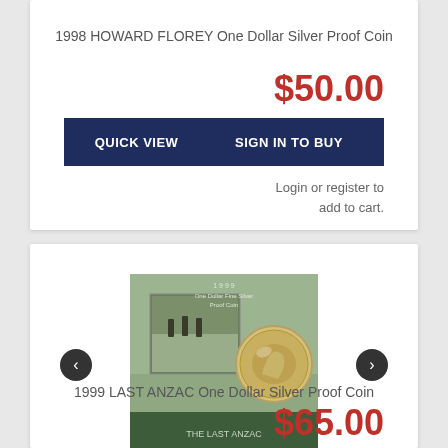1998 HOWARD FLOREY One Dollar Silver Proof Coin
$50.00
QUICK VIEW
SIGN IN TO BUY
Login or register to add to cart.
[Figure (photo): 1999 Last Anzac One Dollar Silver Proof Coin in green packaging with silver coin visible]
1999 LAST ANZAC One Dollar Silver Proof Coin
$65.00